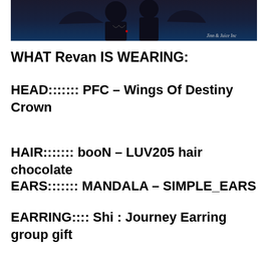[Figure (photo): Dark fantasy scene with figures in dark attire against a dark blue/purple background. Watermark reads 'Jinn & Juice Inc' in bottom right corner.]
WHAT Revan IS WEARING:
HEAD::::::: PFC – Wings Of Destiny Crown
HAIR::::::: booN – LUV205 hair chocolate
EARS::::::: MANDALA – SIMPLE_EARS
EARRING:::: Shi : Journey Earring group gift